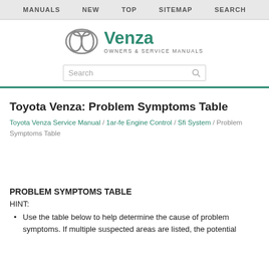MANUALS | NEW | TOP | SITEMAP | SEARCH
[Figure (logo): Toyota Venza Owners & Service Manuals logo with Toyota emblem]
Toyota Venza: Problem Symptoms Table
Toyota Venza Service Manual / 1ar-fe Engine Control / Sfi System / Problem Symptoms Table
PROBLEM SYMPTOMS TABLE
HINT:
Use the table below to help determine the cause of problem symptoms. If multiple suspected areas are listed, the potential